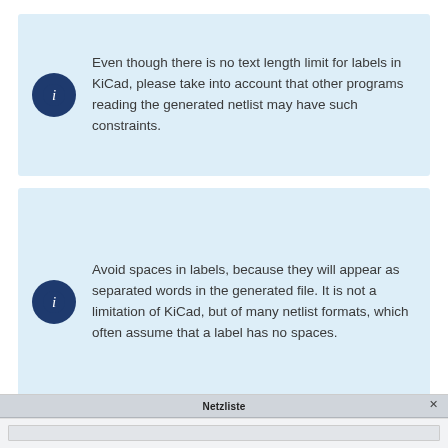Even though there is no text length limit for labels in KiCad, please take into account that other programs reading the generated netlist may have such constraints.
Avoid spaces in labels, because they will appear as separated words in the generated file. It is not a limitation of KiCad, but of many netlist formats, which often assume that a label has no spaces.
[Figure (screenshot): Bottom portion of a dialog window titled 'Netzliste' with a close button (x) in the top-right corner of the title bar, and an empty content area below.]